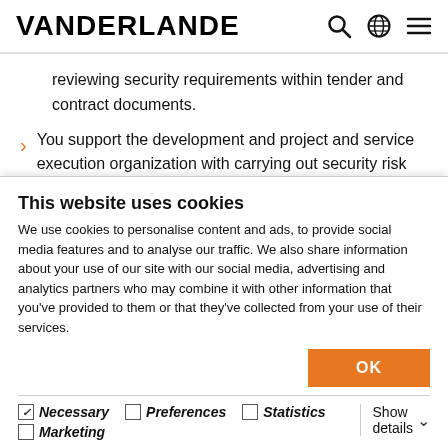VANDERLANDE
reviewing security requirements within tender and contract documents.
You support the development and project and service execution organization with carrying out security risk assessments on our solutions and providing consultancy
This website uses cookies
We use cookies to personalise content and ads, to provide social media features and to analyse our traffic. We also share information about your use of our site with our social media, advertising and analytics partners who may combine it with other information that you've provided to them or that they've collected from your use of their services.